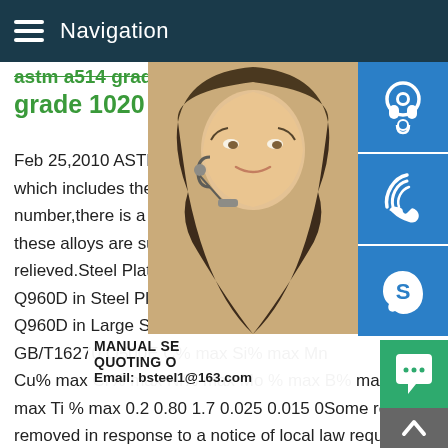Navigation
astm a514 grade b equivalent grade 1020
Feb 25,2010 ASTM A514 is the designation which includes the composition for T 1.If 5 number,there is a table of alloys within the these alloys are susceptible to brittle failure relieved.Steel Plate GB/T16270 Q500E Q960D in Steel Plate GB/T16270 Q500E Q960D in Large Stock.Mechanical and ch GB/T16270 Q500E C% max Si% max Mn Cu% max Cr% max Ni% max Mo % max B% max V% max Nb% max Ti % max 0.2 0.80 1.7 0.025 0.015 0Some results are removed in response to a notice of local law requirement.For more information,please see here.Previous123456Nextgb t16270 q mild steel - Steel Industry supply Carbon China GB T16270 Q Carbon Structural Steel Plate,China GB T16270 Q690F High
[Figure (photo): Woman with headset customer service representative photo]
[Figure (illustration): Blue headset icon button]
[Figure (illustration): Blue phone/wifi icon button]
[Figure (illustration): Blue Skype icon button]
MANUAL SE QUOTING O Email: bsteel1@163.com
[Figure (illustration): Green chat bubble icon]
[Figure (illustration): Gray up arrow button]